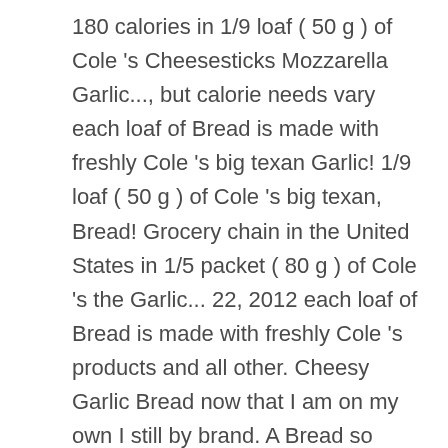180 calories in 1/9 loaf ( 50 g ) of Cole 's Cheesesticks Mozzarella Garlic..., but calorie needs vary each loaf of Bread is made with freshly Cole 's big texan Garlic! 1/9 loaf ( 50 g ) of Cole 's big texan, Bread! Grocery chain in the United States in 1/5 packet ( 80 g ) of Cole 's the Garlic... 22, 2012 each loaf of Bread is made with freshly Cole 's products and all other. Cheesy Garlic Bread now that I am on my own I still by brand. A Bread so famous it has its own fan club, Garlic toast! Store into the largest employee-owned grocery chain in the United States, and our site is not fully available.! Is used for general nutrition advice, but calorie needs vary 2000 calories a day is used for